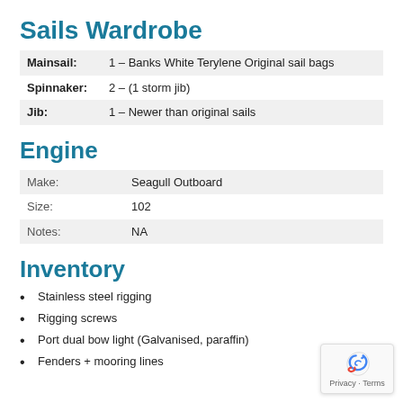Sails Wardrobe
| Mainsail: | 1 – Banks White Terylene Original sail bags |
| Spinnaker: | 2 – (1 storm jib) |
| Jib: | 1 – Newer than original sails |
Engine
| Make: | Seagull Outboard |
| Size: | 102 |
| Notes: | NA |
Inventory
Stainless steel rigging
Rigging screws
Port dual bow light (Galvanised, paraffin)
Fenders  + mooring lines